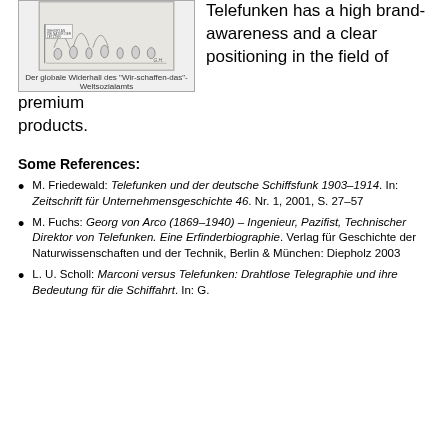[Figure (illustration): A cartoon/sketch illustration showing people in what appears to be a social scene. Caption below reads: Der globale Widerhall des "Wir-schaffen-das"-Weltsozialamts]
Telefunken has a high brand-awareness and a clear positioning in the field of premium products.
Some References:
M. Friedewald: Telefunken und der deutsche Schiffsfunk 1903–1914. In: Zeitschrift für Unternehmensgeschichte 46. Nr. 1, 2001, S. 27–57
M. Fuchs: Georg von Arco (1869–1940) – Ingenieur, Pazifist, Technischer Direktor von Telefunken. Eine Erfinderbiographie. Verlag für Geschichte der Naturwissenschaften und der Technik, Berlin & München: Diepholz 2003
L. U. Scholl: Marconi versus Telefunken: Drahtlose Telegraphie und ihre Bedeutung für die Schiffahrt. In: G.